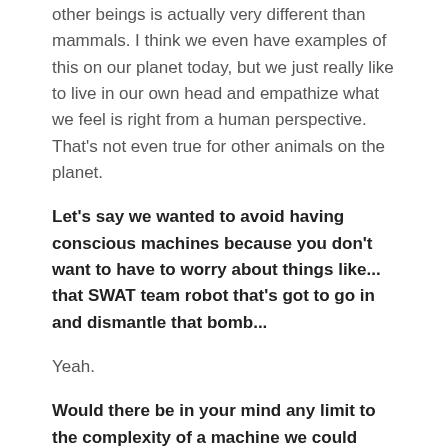other beings is actually very different than mammals. I think we even have examples of this on our planet today, but we just really like to live in our own head and empathize what we feel is right from a human perspective. That's not even true for other animals on the planet.
Let's say we wanted to avoid having conscious machines because you don't want to have to worry about things like... that SWAT team robot that's got to go in and dismantle that bomb...
Yeah.
Would there be in your mind any limit to the complexity of a machine we could build and